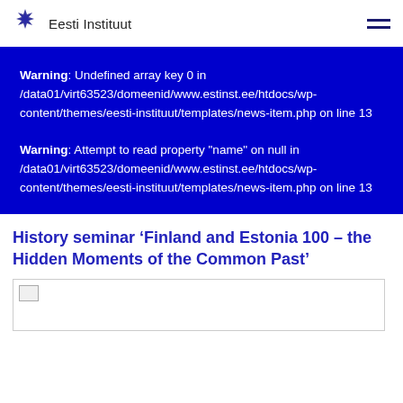Eesti Instituut
Warning: Undefined array key 0 in /data01/virt63523/domeenid/www.estinst.ee/htdocs/wp-content/themes/eesti-instituut/templates/news-item.php on line 13
Warning: Attempt to read property "name" on null in /data01/virt63523/domeenid/www.estinst.ee/htdocs/wp-content/themes/eesti-instituut/templates/news-item.php on line 13
History seminar ‘Finland and Estonia 100 – the Hidden Moments of the Common Past’
[Figure (photo): Broken image placeholder]